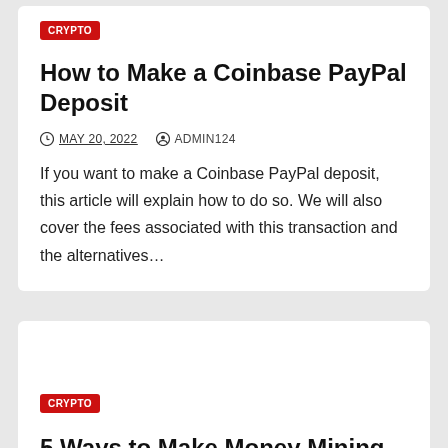CRYPTO
How to Make a Coinbase PayPal Deposit
MAY 20, 2022   ADMIN124
If you want to make a Coinbase PayPal deposit, this article will explain how to do so. We will also cover the fees associated with this transaction and the alternatives…
CRYPTO
5 Ways to Make Money Mining on